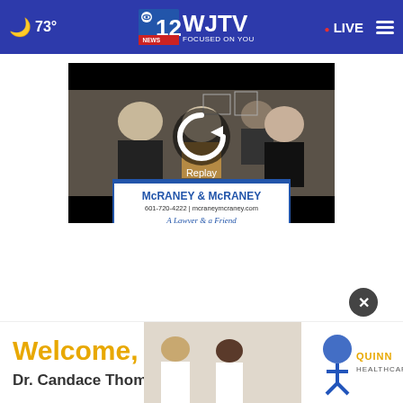🌙 73° | WJTV 12 News Focused on You | LIVE
[Figure (screenshot): Video replay screen showing McRaney & McRaney law firm advertisement with replay button overlay. Shows group of people in an office setting. White banner reads: McRANEY & McRANEY, 601-720-4222 | mcraneymcraney.com, A Lawyer & a Friend. Replay text label visible on replay icon overlay.]
[Figure (photo): Quinn Healthcare advertisement banner: Welcome, Dr. Candace Thompson with doctors in white coats and Quinn Healthcare logo]